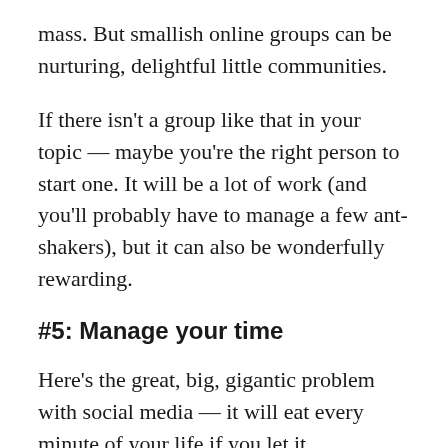mass. But smallish online groups can be nurturing, delightful little communities.
If there isn't a group like that in your topic — maybe you're the right person to start one. It will be a lot of work (and you'll probably have to manage a few ant-shakers), but it can also be wonderfully rewarding.
#5: Manage your time
Here's the great, big, gigantic problem with social media — it will eat every minute of your life if you let it.